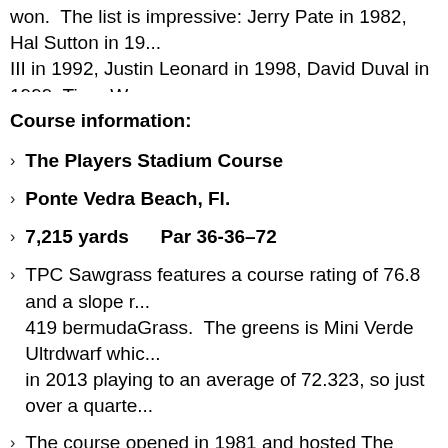won.  The list is impressive: Jerry Pate in 1982, Hal Sutton in 19... III in 1992, Justin Leonard in 1998, David Duval in 1999, Tiger W... Perks, Fred Funk, Henrik Stenson and Tim Clark have also won.
Course information:
The Players Stadium Course
Ponte Vedra Beach, Fl.
7,215 yards     Par 36-36–72
TPC Sawgrass features a course rating of 76.8 and a slope r... 419 bermudaGrass.  The greens is Mini Verde Ultrdwarf whic... in 2013 playing to an average of 72.323, so just over a quarte...
The course opened in 1981 and hosted The Players Champio... greens and landing areas had too much slope.  Winds in the ... course more “player-friendly”.
Over the years, the TPC Sawgrass has gone from a course t... advent of the Players moving to May, the course went through...